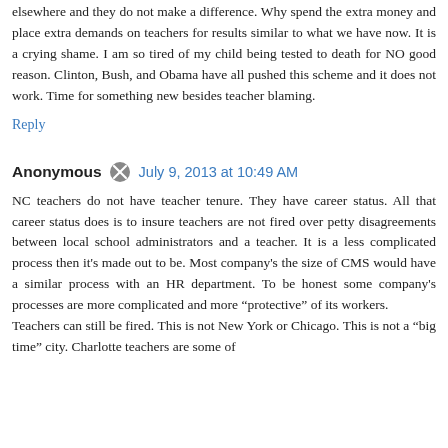elsewhere and they do not make a difference. Why spend the extra money and place extra demands on teachers for results similar to what we have now. It is a crying shame. I am so tired of my child being tested to death for NO good reason. Clinton, Bush, and Obama have all pushed this scheme and it does not work. Time for something new besides teacher blaming.
Reply
Anonymous  July 9, 2013 at 10:49 AM
NC teachers do not have teacher tenure. They have career status. All that career status does is to insure teachers are not fired over petty disagreements between local school administrators and a teacher. It is a less complicated process then it's made out to be. Most company's the size of CMS would have a similar process with an HR department. To be honest some company's processes are more complicated and more "protective" of its workers. Teachers can still be fired. This is not New York or Chicago. This is not a "big time" city. Charlotte teachers are some of